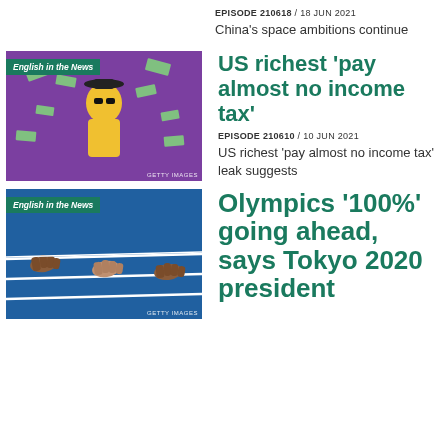EPISODE 210618 / 18 JUN 2021
China's space ambitions continue
[Figure (photo): Woman in yellow suit with money falling, purple background. 'English in the News' label overlay. Getty Images credit.]
US richest ‘pay almost no income tax’
EPISODE 210610 / 10 JUN 2021
US richest 'pay almost no income tax' leak suggests
[Figure (photo): Athletes' hands on a blue track starting line. 'English in the News' label overlay. Getty Images credit.]
Olympics '100%' going ahead, says Tokyo 2020 president